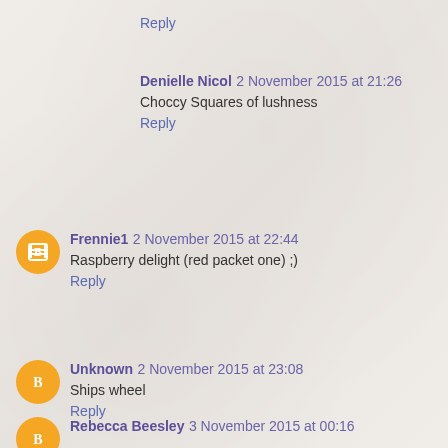Reply
Denielle Nicol  2 November 2015 at 21:26
Choccy Squares of lushness
Reply
Frennie1  2 November 2015 at 22:44
Raspberry delight (red packet one) ;)
Reply
Unknown  2 November 2015 at 23:08
Ships wheel
Reply
Rebecca Beesley  3 November 2015 at 00:16